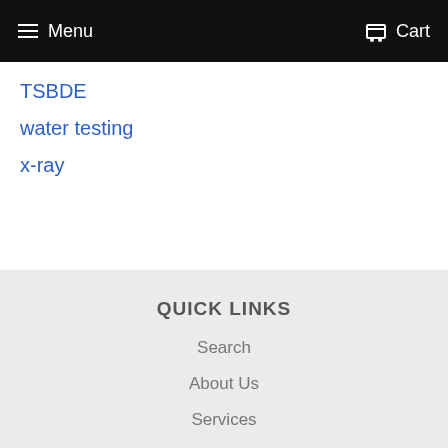Menu   Cart
TSBDE
water testing
x-ray
QUICK LINKS
Search
About Us
Services
Privacy Policy
Return Policy
GET IN TOUCH